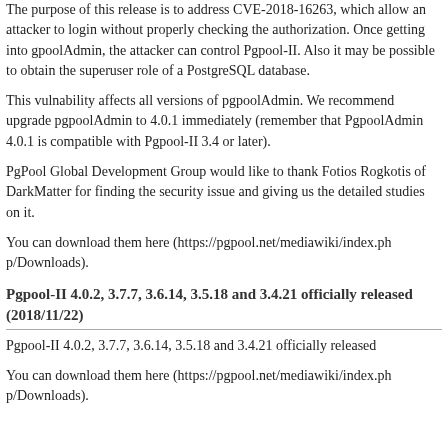The purpose of this release is to address CVE-2018-16263, which allow an attacker to login without properly checking the authorization. Once getting into gpoolAdmin, the attacker can control Pgpool-II. Also it may be possible to obtain the superuser role of a PostgreSQL database.
This vulnability affects all versions of pgpoolAdmin. We recommend upgrade pgpoolAdmin to 4.0.1 immediately (remember that PgpoolAdmin 4.0.1 is compatible with Pgpool-II 3.4 or later).
PgPool Global Development Group would like to thank Fotios Rogkotis of DarkMatter for finding the security issue and giving us the detailed studies on it.
You can download them here (https://pgpool.net/mediawiki/index.php/Downloads).
Pgpool-II 4.0.2, 3.7.7, 3.6.14, 3.5.18 and 3.4.21 officially released (2018/11/22)
Pgpool-II 4.0.2, 3.7.7, 3.6.14, 3.5.18 and 3.4.21 officially released
You can download them here (https://pgpool.net/mediawiki/index.php/Downloads).